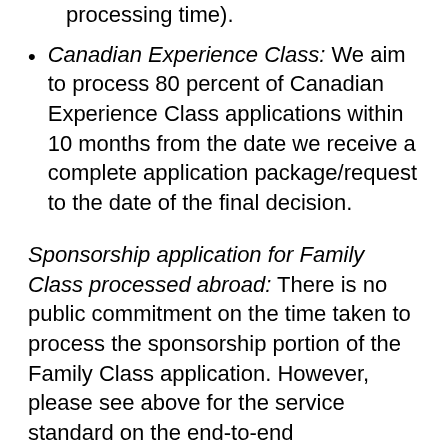processing time).
Canadian Experience Class: We aim to process 80 percent of Canadian Experience Class applications within 10 months from the date we receive a complete application package/request to the date of the final decision.
Sponsorship application for Family Class processed abroad: There is no public commitment on the time taken to process the sponsorship portion of the Family Class application. However, please see above for the service standard on the end-to-end